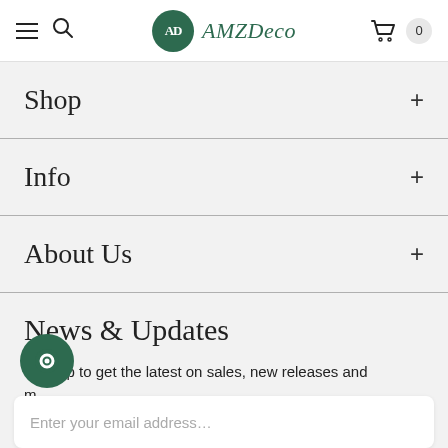AMZDeco — navigation header with hamburger menu, search icon, logo, cart icon with badge 0
Shop +
Info +
About Us +
News & Updates
Sign up to get the latest on sales, new releases and m…
Enter your email address…